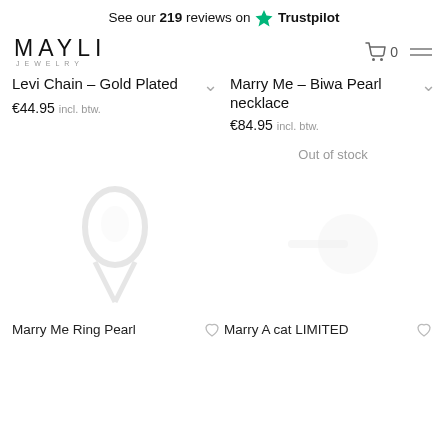See our 219 reviews on Trustpilot
[Figure (logo): MAYLI Jewelry logo]
Levi Chain – Gold Plated
€44.95 incl. btw.
Marry Me – Biwa Pearl necklace
€84.95 incl. btw.
Out of stock
[Figure (photo): Faint jewelry product image - left]
[Figure (photo): Faint jewelry product image - right]
Marry Me Ring Pearl
Marry A cat LIMITED